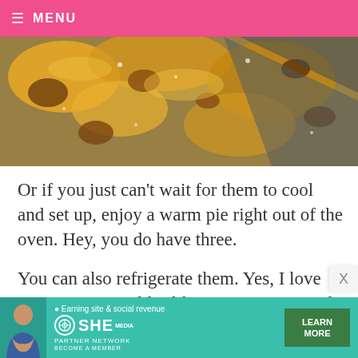≡ MENU
[Figure (photo): Close-up photo of a pecan pie with golden crumble topping and caramelized pecans on a dark surface]
Or if you just can't wait for them to cool and set up, enjoy a warm pie right out of the oven. Hey, you do have three.
You can also refrigerate them. Yes, I love my pecan pie cold. I like to cut a piece and hold it like a brownie… no forks. Yum!
[Figure (infographic): SHE Partner Network advertisement banner with a woman photo, tagline 'Earning site & social revenue', SHE Media logo, and a green LEARN MORE button]